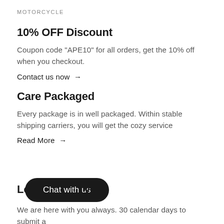MOTORCYCLE
10% OFF Discount
Coupon code "APE10" for all orders, get the 10% off when you checkout.
Contact us now →
Care Packaged
Every package is in well packaged. Within stable shipping carriers, you will get the cozy service
Read More →
[Figure (other): Dark rounded button overlay with text 'Chat with us']
Lo...y
We are here with you always. 30 calendar days to submit a